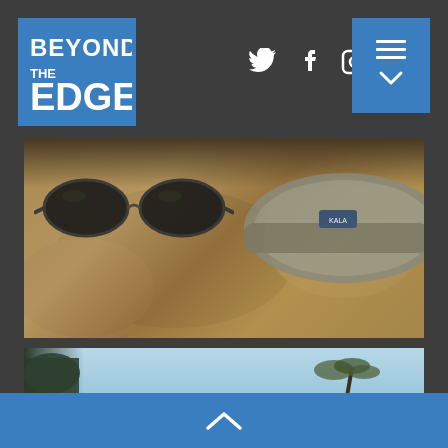[Figure (logo): Beyond The Edge logo — white bold text on blue square background]
[Figure (other): Social media icons: Twitter bird, Facebook f, Instagram camera — white on dark background]
[Figure (other): Menu button (hamburger icon with down chevron) on blue square background]
[Figure (photo): Close-up photo of dark sunglasses and a grey cap/visor resting on rocky sandy surface]
[Figure (photo): Partial photo showing blue sky with dark vegetation on left edge]
[Figure (other): Blue footer bar with upward-pointing chevron arrow in center]